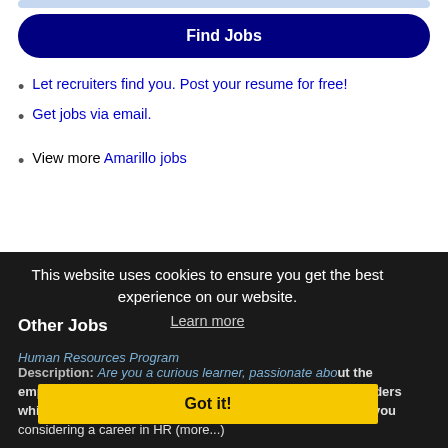[Figure (other): Light blue horizontal bar/search input at top of page]
Find Jobs
Let recruiters find you. Post your resume for free!
Get jobs via email.
View more Amarillo jobs
This website uses cookies to ensure you get the best experience on our website.
Learn more
Other Jobs
Human Resources Program
Description: Are you a curious learner, passionate about the employee experience, and developing talent and great leaders while being an operational partner to our businesses Are you considering a career in HR (more...)
Got it!